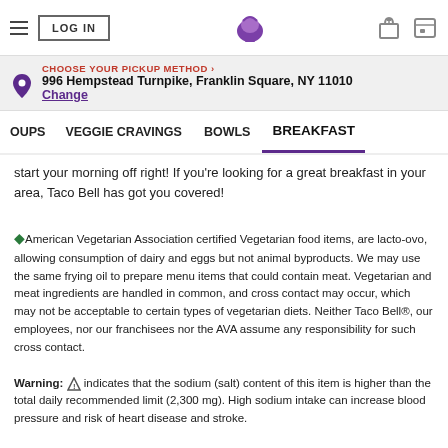LOG IN | Taco Bell | [gift icon] [card icon]
CHOOSE YOUR PICKUP METHOD › 996 Hempstead Turnpike, Franklin Square, NY 11010 Change
OUPS   VEGGIE CRAVINGS   BOWLS   BREAKFAST
start your morning off right! If you're looking for a great breakfast in your area, Taco Bell has got you covered!
◆American Vegetarian Association certified Vegetarian food items, are lacto-ovo, allowing consumption of dairy and eggs but not animal byproducts. We may use the same frying oil to prepare menu items that could contain meat. Vegetarian and meat ingredients are handled in common, and cross contact may occur, which may not be acceptable to certain types of vegetarian diets. Neither Taco Bell®, our employees, nor our franchisees nor the AVA assume any responsibility for such cross contact.
Warning: ⚠ indicates that the sodium (salt) content of this item is higher than the total daily recommended limit (2,300 mg). High sodium intake can increase blood pressure and risk of heart disease and stroke.